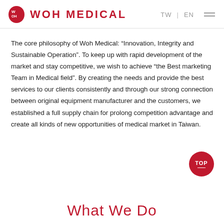WOH MEDICAL  TW | EN
The core philosophy of Woh Medical: “Innovation, Integrity and Sustainable Operation”. To keep up with rapid development of the market and stay competitive, we wish to achieve “the Best marketing Team in Medical field”. By creating the needs and provide the best services to our clients consistently and through our strong connection between original equipment manufacturer and the customers, we established a full supply chain for prolong competition advantage and create all kinds of new opportunities of medical market in Taiwan.
What We Do